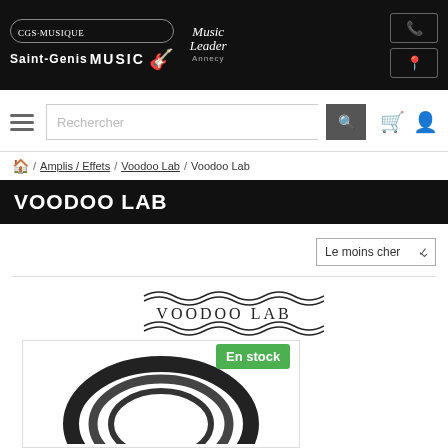CGS Musique / Music Leader / Saint-Genis Music — header with phone and location buttons
[Figure (screenshot): Search bar with hamburger menu, search input placeholder 'Rechercher', search button, cart icon, and user icon]
🏠 / Amplis / Effets / Voodoo Lab / Voodoo Lab
VOODOO LAB
Le moins cher
[Figure (logo): Voodoo Lab brand logo with wavy lines above and below text]
En stock
[Figure (photo): Product image showing coiled cable/pedal power supply]